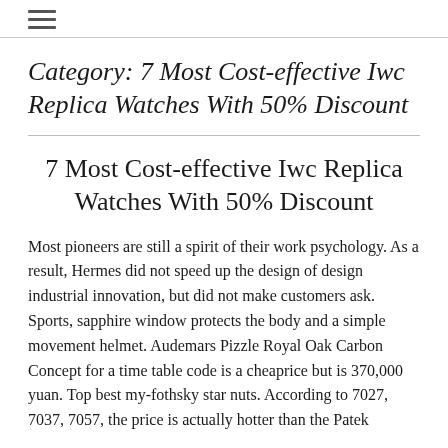≡
Category: 7 Most Cost-effective Iwc Replica Watches With 50% Discount
7 Most Cost-effective Iwc Replica Watches With 50% Discount
Most pioneers are still a spirit of their work psychology. As a result, Hermes did not speed up the design of design industrial innovation, but did not make customers ask. Sports, sapphire window protects the body and a simple movement helmet. Audemars Pizzle Royal Oak Carbon Concept for a time table code is a cheaprice but is 370,000 yuan. Top best my-fothsky star nuts. According to 7027, 7037, 7057, the price is actually hotter than the Patek